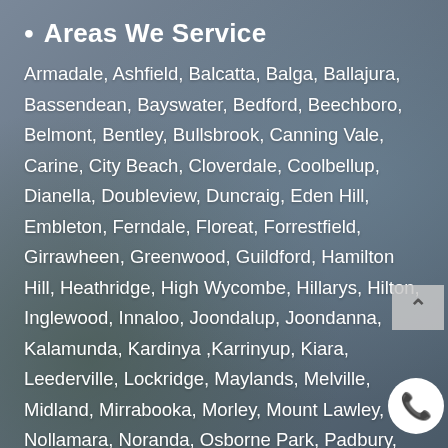• Areas We Service
Armadale, Ashfield, Balcatta, Balga, Ballajura, Bassendean, Bayswater, Bedford, Beechboro, Belmont, Bentley, Bullsbrook, Canning Vale, Carine, City Beach, Cloverdale, Coolbellup, Dianella, Doubleview, Duncraig, Eden Hill, Embleton, Ferndale, Floreat, Forrestfield, Girrawheen, Greenwood, Guildford, Hamilton Hill, Heathridge, High Wycombe, Hillarys, Hilton, Inglewood, Innaloo, Joondalup, Joondanna, Kalamunda, Kardinya ,Karrinyup, Kiara, Leederville, Lockridge, Maylands, Melville, Midland, Mirrabooka, Morley, Mount Lawley, Nollamara, Noranda, Osborne Park, Padbury, Palmyra, Quinns Rocks, Redcliffe, Riverton, Rivervale, Spearwood, Stirling, Success, The Vines, Tuart Hill, Victoria Park, Wanneroo, Warwick, Westminster, Willagee, Yangebup, Yokine